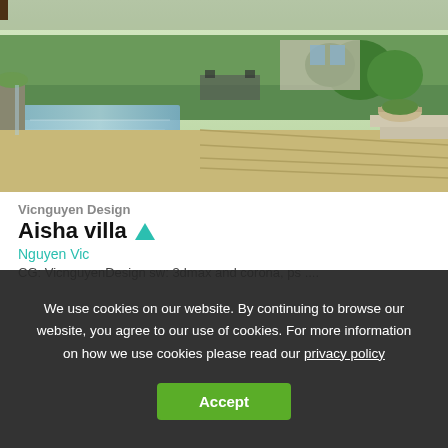[Figure (photo): Outdoor villa terrace with pool, stone paving, green hedges, potted plants, and patio furniture in background]
Vicnguyen Design
Aisha villa ▲
Nguyen Vic
CG: VicnguyenDesign sw: 3dmax and corona, ps ....
We use cookies on our website. By continuing to browse our website, you agree to our use of cookies. For more information on how we use cookies please read our privacy policy
Accept